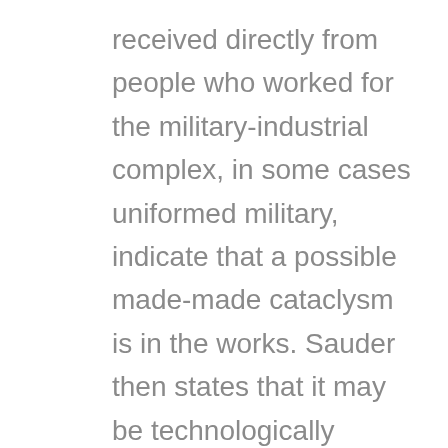received directly from people who worked for the military-industrial complex, in some cases uniformed military, indicate that a possible made-made cataclysm is in the works. Sauder then states that it may be technologically possible to “design, build and deploy continent-busting weaponry that far exceeds the destructive power of nuclear weaponry…” Sauder asks if it is morally advisable to do so. He asks, “Under what conceivable set of circumstances would a military